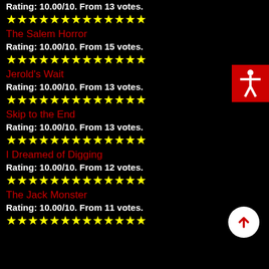Rating: 10.00/10. From 13 votes.
★★★★★★★★★★★★★
The Salem Horror
Rating: 10.00/10. From 15 votes.
★★★★★★★★★★★★★
Jerold's Wait
Rating: 10.00/10. From 13 votes.
★★★★★★★★★★★★★
Skip to the End
Rating: 10.00/10. From 13 votes.
★★★★★★★★★★★★★
I Dreamed of Digging
Rating: 10.00/10. From 12 votes.
★★★★★★★★★★★★★
The Jack Monster
Rating: 10.00/10. From 11 votes.
★★★★★★★★★★★★★